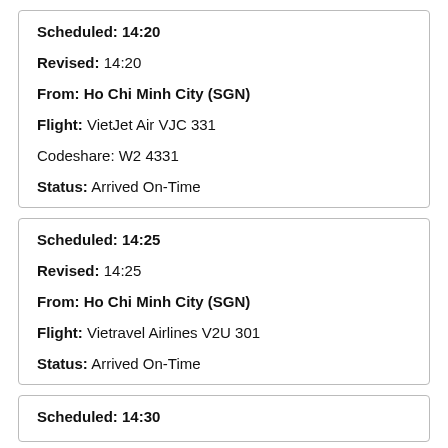Scheduled: 14:20
Revised: 14:20
From: Ho Chi Minh City (SGN)
Flight: VietJet Air VJC 331
Codeshare: W2 4331
Status: Arrived On-Time
Scheduled: 14:25
Revised: 14:25
From: Ho Chi Minh City (SGN)
Flight: Vietravel Airlines V2U 301
Status: Arrived On-Time
Scheduled: 14:30